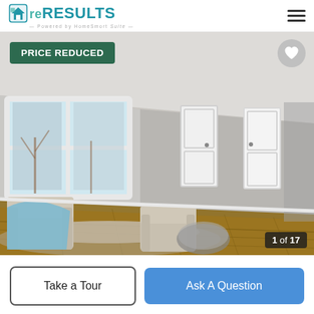reRESULTS — Powered by HomeSmort Suite
[Figure (photo): Interior living room photo showing hardwood floors, grey walls, white doors, large window with winter trees outside, and staged furniture including patterned armchairs and a round glass coffee table. Overlaid with 'PRICE REDUCED' badge, heart icon, and '1 of 17' photo counter.]
Take a Tour
Ask A Question